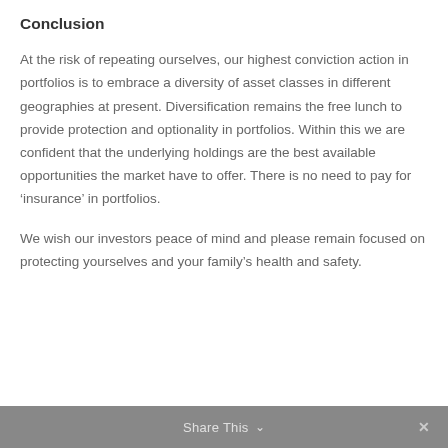Conclusion
At the risk of repeating ourselves, our highest conviction action in portfolios is to embrace a diversity of asset classes in different geographies at present. Diversification remains the free lunch to provide protection and optionality in portfolios. Within this we are confident that the underlying holdings are the best available opportunities the market have to offer. There is no need to pay for ‘insurance’ in portfolios.
We wish our investors peace of mind and please remain focused on protecting yourselves and your family’s health and safety.
Share This